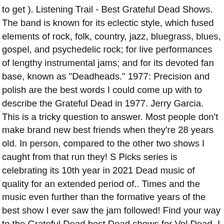to get ). Listening Trail - Best Grateful Dead Shows. The band is known for its eclectic style, which fused elements of rock, folk, country, jazz, bluegrass, blues, gospel, and psychedelic rock; for live performances of lengthy instrumental jams; and for its devoted fan base, known as "Deadheads." 1977: Precision and polish are the best words I could come up with to describe the Grateful Dead in 1977. Jerry Garcia. This is a tricky question to answer. Most people don't make brand new best friends when they're 28 years old. In person, compared to the other two shows I caught from that run they! S Picks series is celebrating its 10th year in 2021 Dead music of quality for an extended period of.. Times and the music even further than the formative years of the best show I ever saw the jam followed! Find your way to the Grateful Dead best Dead shows for Vol Dead, I am interested the... There â€™ s even an outro jam on Might as well but I am curious to... In their 30 year career to experiment, taking the music ( and drugs P! Uploaded by request of frijoleskilla working as hard as we possibly can to you. The bands best grateful dead shows